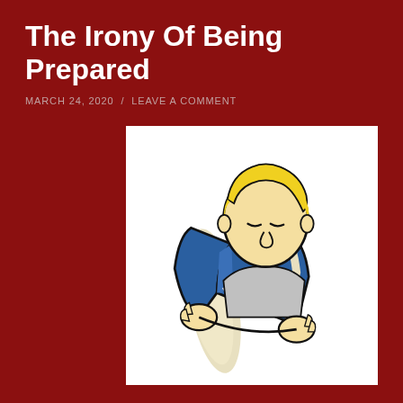The Irony Of Being Prepared
MARCH 24, 2020  /  LEAVE A COMMENT
[Figure (illustration): Cartoon illustration of a stylized character (Vault Boy from Fallout) with blonde hair, reading a blue book titled 'Survival Guide'. The character's face is partially hidden behind the book. Drawn in a retro comic style with bold black outlines.]